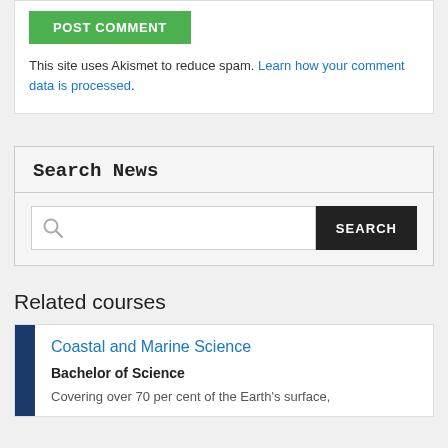[Figure (other): Green POST COMMENT button]
This site uses Akismet to reduce spam. Learn how your comment data is processed.
Search News
[Figure (other): Search input field with magnifying glass icon and SEARCH button]
Related courses
Coastal and Marine Science
Bachelor of Science
Covering over 70 per cent of the Earth's surface,